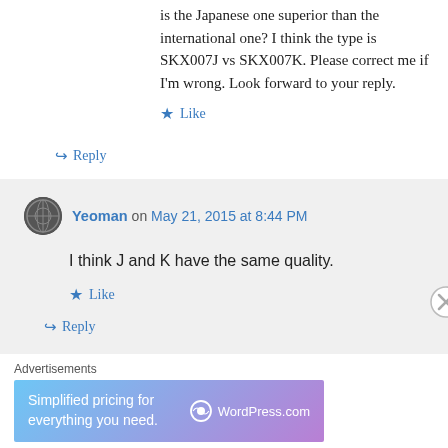is the Japanese one superior than the international one? I think the type is SKX007J vs SKX007K. Please correct me if I'm wrong. Look forward to your reply.
★ Like
↪ Reply
Yeoman on May 21, 2015 at 8:44 PM
I think J and K have the same quality.
★ Like
↪ Reply
Advertisements
[Figure (other): WordPress.com advertisement banner: 'Simplified pricing for everything you need.']